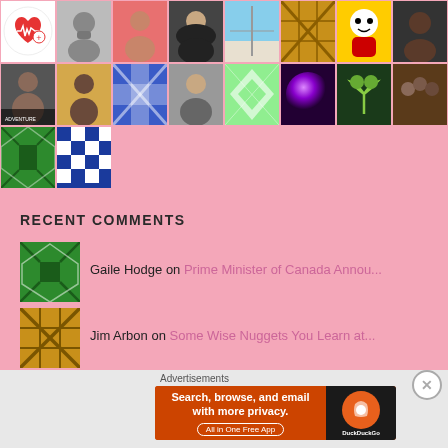[Figure (photo): Grid of user avatar thumbnails on pink background - multiple rows of profile photos and patterned avatars]
RECENT COMMENTS
[Figure (photo): Avatar thumbnail - green diamond pattern]
Gaile Hodge on Prime Minister of Canada Annou...
[Figure (photo): Avatar thumbnail - brown/gold checkered pattern]
Jim Arbon on Some Wise Nuggets You Learn at...
[Figure (photo): Avatar thumbnail - blue pattern (partially visible)]
Advertisements
[Figure (infographic): DuckDuckGo advertisement banner - Search, browse, and email with more privacy. All in One Free App]